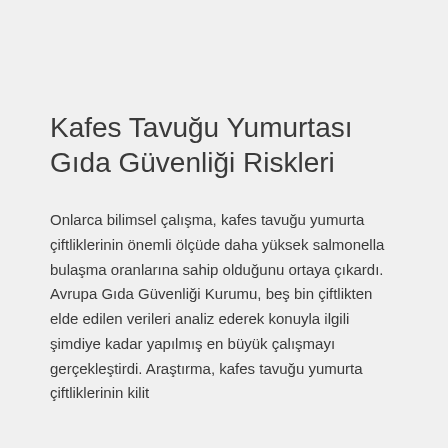Kafes Tavuğu Yumurtası Gıda Güvenliği Riskleri
Onlarca bilimsel çalışma, kafes tavuğu yumurta çiftliklerinin önemli ölçüde daha yüksek salmonella bulaşma oranlarına sahip olduğunu ortaya çıkardı. Avrupa Gıda Güvenliği Kurumu, beş bin çiftlikten elde edilen verileri analiz ederek konuyla ilgili şimdiye kadar yapılmış en büyük çalışmayı gerçekleştirdi. Araştırma, kafes tavuğu yumurta çiftliklerinin kilit